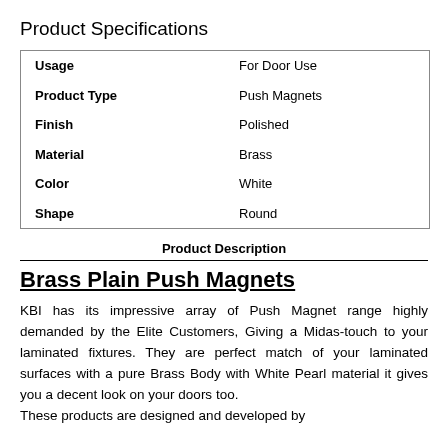Product Specifications
| Usage | For Door Use |
| Product Type | Push Magnets |
| Finish | Polished |
| Material | Brass |
| Color | White |
| Shape | Round |
Product Description
Brass Plain Push Magnets
KBI has its impressive array of Push Magnet range highly demanded by the Elite Customers, Giving a Midas-touch to your laminated fixtures. They are perfect match of your laminated surfaces with a pure Brass Body with White Pearl material it gives you a decent look on your doors too.
These products are designed and developed by